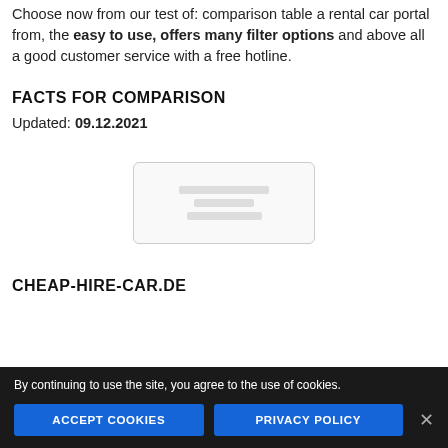Choose now from our test of: comparison table a rental car portal from, the easy to use, offers many filter options and above all a good customer service with a free hotline.
FACTS FOR COMPARISON
Updated: 09.12.2021
[Figure (other): Blurred/placeholder image area in the center of the page]
CHEAP-HIRE-CAR.DE
By continuing to use the site, you agree to the use of cookies.
ACCEPT COOKIES   PRIVACY POLICY